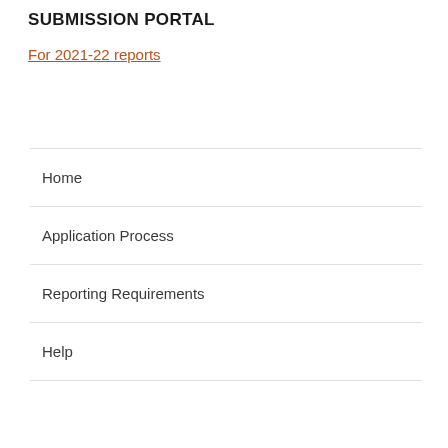SUBMISSION PORTAL
For 2021-22 reports
Home
Application Process
Reporting Requirements
Help